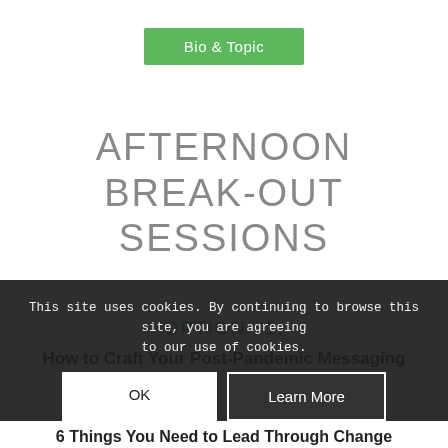[Figure (other): Green button labeled Bio & Topic]
AFTERNOON BREAK-OUT SESSIONS
OPTION #1:
How to Craft Your Post-Pandemic Messaging
This site uses cookies. By continuing to browse this site, you are agreeing to our use of cookies.
6 Things You Need to Lead Through Change